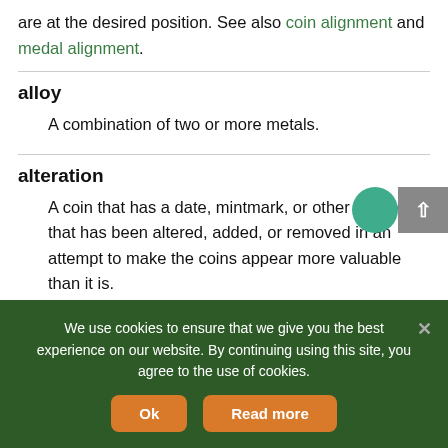are at the desired position. See also coin alignment and medal alignment.
alloy
A combination of two or more metals.
alteration
A coin that has a date, mintmark, or other feature that has been altered, added, or removed in an attempt to make the coins appear more valuable than it is.
We use cookies to ensure that we give you the best experience on our website. By continuing using this site, you agree to the use of cookies.